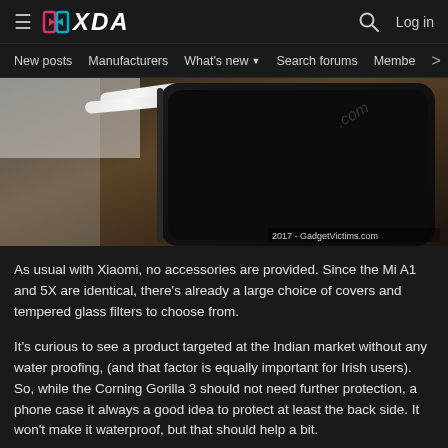XDA | New posts | Manufacturers | What's new | Search forums | Members | Log in
[Figure (photo): Close-up photo of a Xiaomi Mi A1 / 5X smartphone on a wooden surface with white cables. The phone is dark colored. Watermark reads '2017 - GadgetVictims.com']
As usual with Xiaomi, no accessories are provided. Since the Mi A1 and 5X are identical, there's already a large choice of covers and tempered glass filters to choose from.
It's curious to see a product targeted at the Indian market without any water proofing, (and that factor is equally important for Irish users). So, while the Corning Gorilla 3 should not need further protection, a phone case it always a good idea to protect at least the back side. It won't make it waterproof, but that should help a bit.